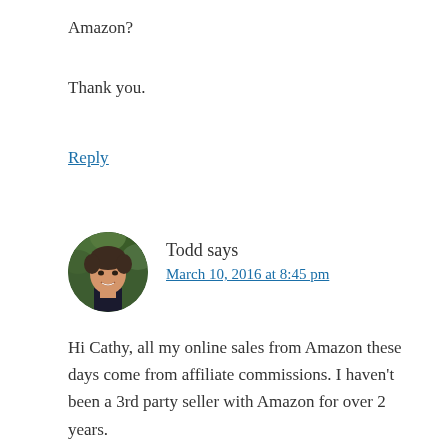Amazon?
Thank you.
Reply
[Figure (photo): Circular avatar photo of Todd, a smiling young man with dark hair against a green leafy background]
Todd says
March 10, 2016 at 8:45 pm
Hi Cathy, all my online sales from Amazon these days come from affiliate commissions. I haven't been a 3rd party seller with Amazon for over 2 years.
At the time, they had some helpful suggestions